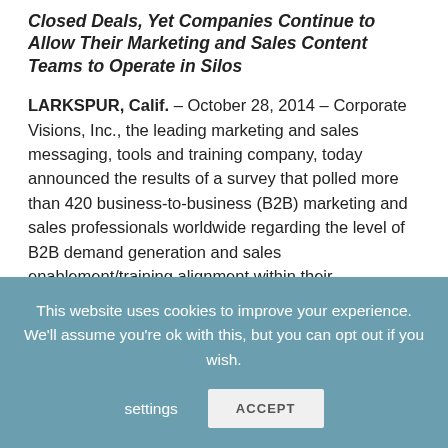Closed Deals, Yet Companies Continue to Allow Their Marketing and Sales Content Teams to Operate in Silos
LARKSPUR, Calif. – October 28, 2014 – Corporate Visions, Inc., the leading marketing and sales messaging, tools and training company, today announced the results of a survey that polled more than 420 business-to-business (B2B) marketing and sales professionals worldwide regarding the level of B2B demand generation and sales enablement/training alignment within their organizations. Interestingly, the data revealed that only 10 percent of companies are completely
This website uses cookies to improve your experience. We'll assume you're ok with this, but you can opt out if you wish. settings ACCEPT